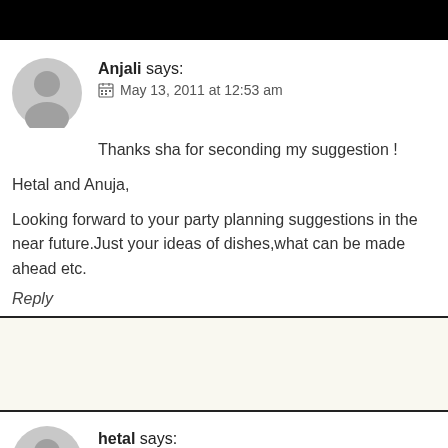Anjali says: May 13, 2011 at 12:53 am
Thanks sha for seconding my suggestion !

Hetal and Anuja,

Looking forward to your party planning suggestions in the near future.Just your ideas of dishes,what can be made ahead etc.
Reply
hetal says: May 15, 2011 at 2:08 pm
Hi Anjali,